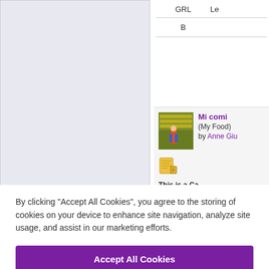[Figure (other): Light lavender/grey rectangular panel on the left side of the upper portion of the page]
| GRL | Le |
| --- | --- |
| B |  |
[Figure (photo): Small thumbnail of a child in a grocery store with colorful shelves in the background]
Mi comi (My Food) by Anne Giu
[Figure (other): Notepad/writing icon in yellow]
This is a Ca Only custom Capstone C
By clicking “Accept All Cookies”, you agree to the storing of cookies on your device to enhance site navigation, analyze site usage, and assist in our marketing efforts.
Accept All Cookies
Cookies Settings